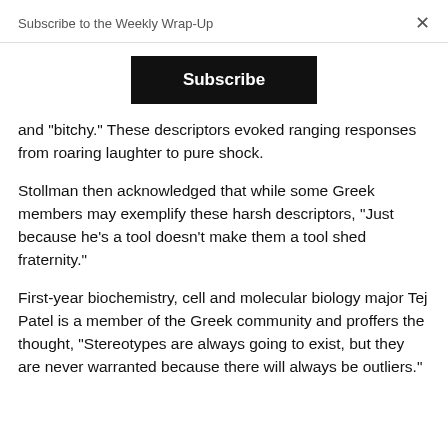Subscribe to the Weekly Wrap-Up
Subscribe
and “bitchy.” These descriptors evoked ranging responses from roaring laughter to pure shock.
Stollman then acknowledged that while some Greek members may exemplify these harsh descriptors, “Just because he’s a tool doesn’t make them a tool shed fraternity.”
First-year biochemistry, cell and molecular biology major Tej Patel is a member of the Greek community and proffers the thought, “Stereotypes are always going to exist, but they are never warranted because there will always be outliers.”